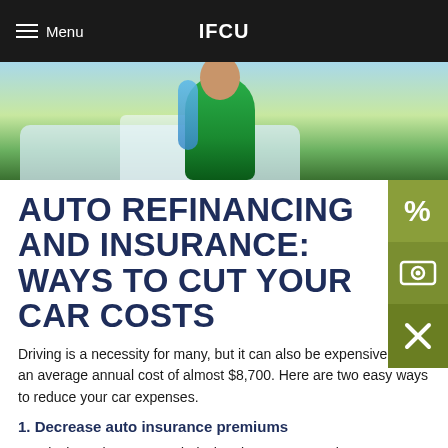Menu  IFCU
[Figure (photo): Person in a green jacket standing next to a white car door, outdoor background with grass]
AUTO REFINANCING AND INSURANCE: WAYS TO CUT YOUR CAR COSTS
Driving is a necessity for many, but it can also be expensive, with an average annual cost of almost $8,700. Here are two easy ways to reduce your car expenses.
1. Decrease auto insurance premiums
Loyalty isn't always rewarded when it comes to car insurance. It makes sense to compare rates periodically and see whether you can find better ones than your current insurer charges. A Liberty Mutual